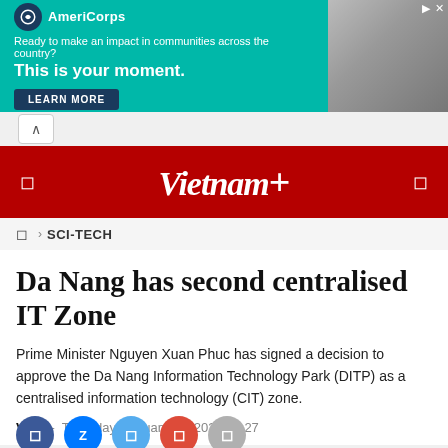[Figure (screenshot): AmeriCorps advertisement banner with teal background. Logo shows AmeriCorps name with circle emblem. Text reads: 'Ready to make an impact in communities across the country? This is your moment.' with a LEARN MORE button. Right side shows a photo of a person.]
Vietnam+
SCI-TECH
Da Nang has second centralised IT Zone
Prime Minister Nguyen Xuan Phuc has signed a decision to approve the Da Nang Information Technology Park (DITP) as a centralised information technology (CIT) zone.
VNA - Thursday, January 09, 2020 10:27